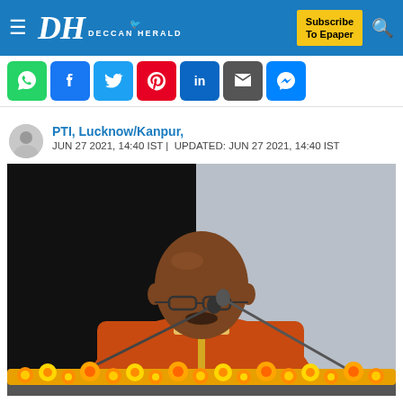Deccan Herald — Subscribe To Epaper
[Figure (screenshot): Social media sharing icons: WhatsApp, Facebook, Twitter, Pinterest, LinkedIn, Email, Messenger]
PTI, Lucknow/Kanpur,
JUN 27 2021, 14:40 IST | UPDATED: JUN 27 2021, 14:40 IST
[Figure (photo): A man in an orange robe speaking at a podium with a microphone, garland of marigolds in front, dark background on left, light background on right.]